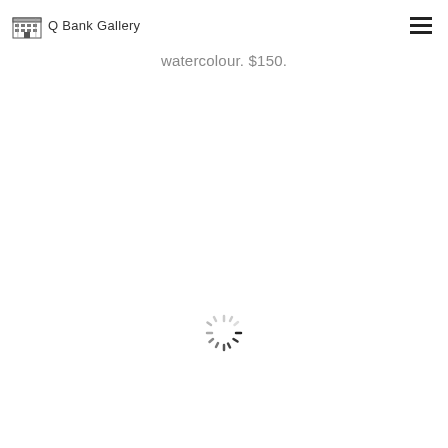Q Bank Gallery
watercolour. $150.
[Figure (other): Loading spinner (circular dashed spinner icon) centered on the page]